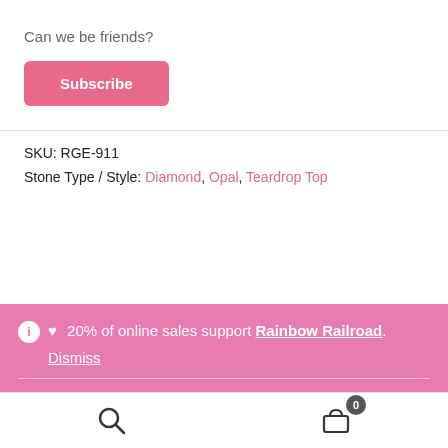Can we be friends?
Subscribe
SKU: RGE-911
Stone Type / Style: Diamond, Opal, Teardrop Top
ℹ ♥ 20% of online sales support Rainbow Railroad. Dismiss
Search | Cart 0